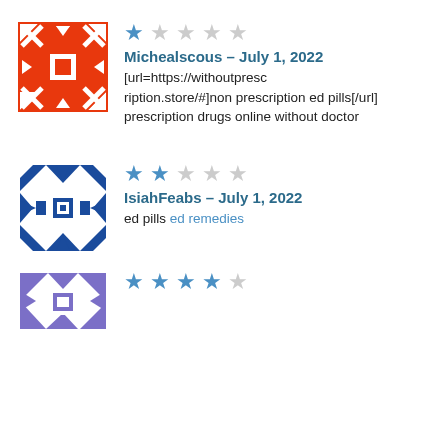[Figure (illustration): Red geometric patterned avatar icon for user Michealscous]
★☆☆☆☆
Michealscous – July 1, 2022
[url=https://withoutprescription.store/#]non prescription ed pills[/url] prescription drugs online without doctor
[Figure (illustration): Blue geometric patterned avatar icon for user IsiahFeabs]
★★☆☆☆
IsiahFeabs – July 1, 2022
ed pills ed remedies
[Figure (illustration): Purple/blue geometric patterned avatar icon for third user]
★★★★☆